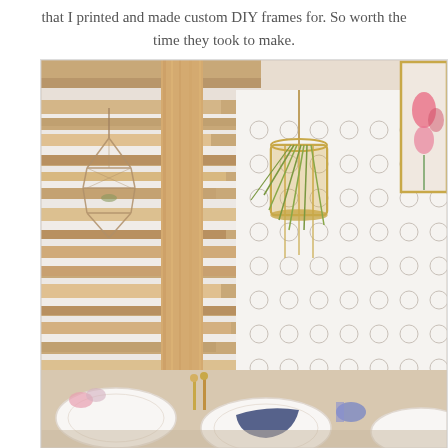that I printed and made custom DIY frames for. So worth the time they took to make.
[Figure (photo): Interior party/event decor photo showing a rustic wooden pallet wall backdrop with hanging geometric wire terrarium lantern and a gold hanging planter with air plant. In the background is a white seating chart or escort card wall. In the foreground is a decorated table with white plates and navy blue napkins.]